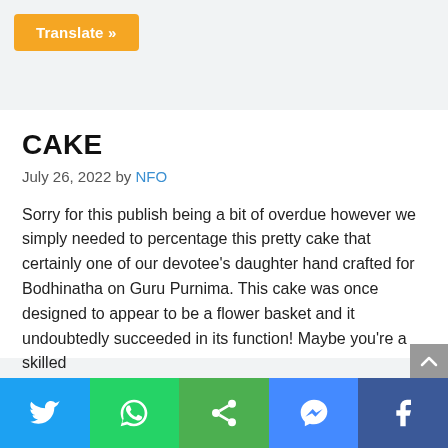Translate »
CAKE
July 26, 2022 by NFO
Sorry for this publish being a bit of overdue however we simply needed to percentage this pretty cake that certainly one of our devotee's daughter hand crafted for Bodhinatha on Guru Purnima. This cake was once designed to appear to be a flower basket and it undoubtedly succeeded in its function! Maybe you're a skilled... Read more
Twitter | WhatsApp | Share | Messenger | Facebook